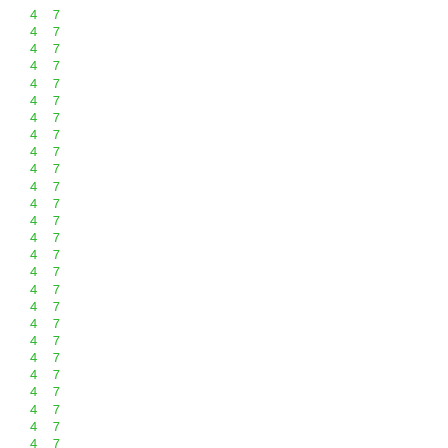4 7
4 7
4 7
4 7
4 7
4 7
4 7
4 7
4 7
4 7
4 7
4 7
4 7
4 7
4 7
4 7
4 7
4 7
4 7
4 7
4 7
4 7
4 7
4 7
4 7
4 7
4 7
4 7
4 7